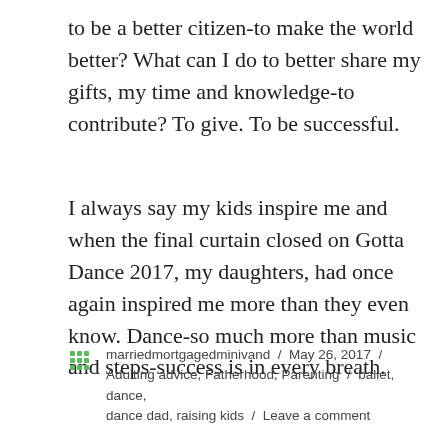to be a better citizen-to make the world better? What can I do to better share my gifts, my time and knowledge-to contribute? To give. To be successful.
I always say my kids inspire me and when the final curtain closed on Gotta Dance 2017, my daughters, had once again inspired me more than they even know. Dance-so much more than music and steps-success is in every breath.
marriedmortgagedminivand / May 26, 2017 / Adulting advice, Fatherhood, Parenting / ballet, dance, dance dad, raising kids / Leave a comment